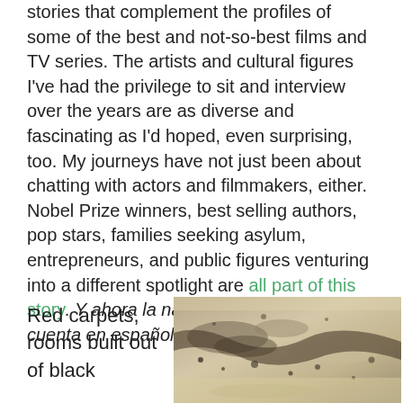stories that complement the profiles of some of the best and not-so-best films and TV series. The artists and cultural figures I've had the privilege to sit and interview over the years are as diverse and fascinating as I'd hoped, even surprising, too. My journeys have not just been about chatting with actors and filmmakers, either. Nobel Prize winners, best selling authors, pop stars, families seeking asylum, entrepreneurs, and public figures venturing into a different spotlight are all part of this story. Y ahora la narrativa también se cuenta en español.
Red carpets, rooms built out of black
[Figure (photo): Close-up macro photo of a textured sandy or rocky surface with dark speckles and organic material visible.]